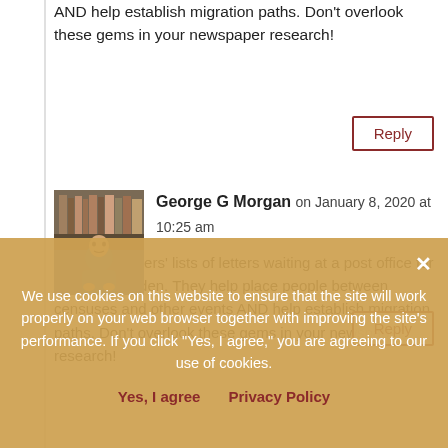AND help establish migration paths. Don't overlook these gems in your newspaper research!
Reply
George G Morgan on January 8, 2020 at 10:25 am
The newspapers' lists of letters waiting at a post office for claim are golden. They help place people between censuses and other events AND help establish migration paths. Don't overlook these gems in your newspaper research!
Reply
Barbara McCaslin on January 11, 2020 at 8:22 am
When did the law change? I don't see dead
We use cookies on this website to ensure that the site will work properly on your web browser together with improving the site's performance. If you click "Yes, I agree," you are agreeing to our use of cookies.
Yes, I agree   Privacy Policy